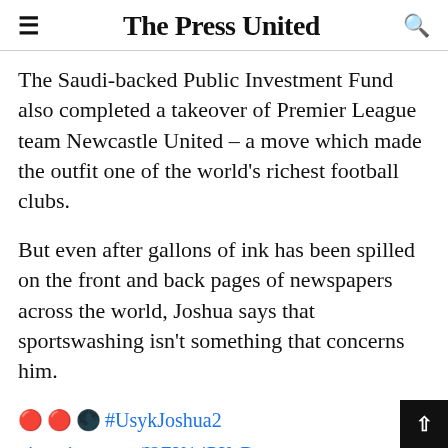The Press United
The Saudi-backed Public Investment Fund also completed a takeover of Premier League team Newcastle United – a move which made the outfit one of the world's richest football clubs.
But even after gallons of ink has been spilled on the front and back pages of newspapers across the world, Joshua says that sportswashing isn't something that concerns him.
🔴🔴🌙 #UsykJoshua2 pic.twitter.com/I2ZK14PXsD
— Matchroom Boxing (@MatchroomBoxing) June 21, 2022
•• FACE OFF 🔥🔥 @usykaa vs @anthonyjoshua: The rematch